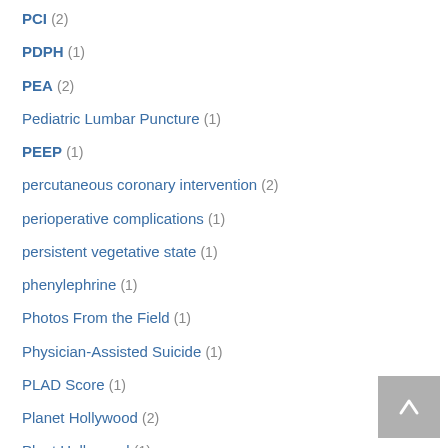PCI (2)
PDPH (1)
PEA (2)
Pediatric Lumbar Puncture (1)
PEEP (1)
percutaneous coronary intervention (2)
perioperative complications (1)
persistent vegetative state (1)
phenylephrine (1)
Photos From the Field (1)
Physician-Assisted Suicide (1)
PLAD Score (1)
Planet Hollywood (2)
Plant Hollywood (1)
Plavix (3)
pleural effusions (6)